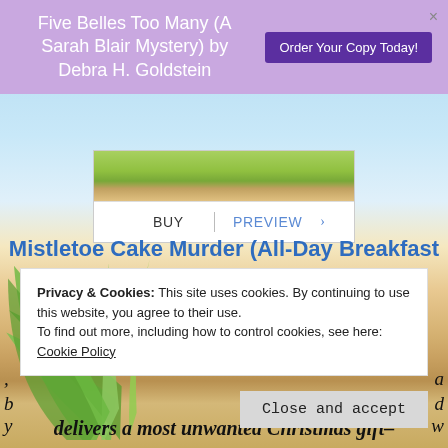Five Belles Too Many (A Sarah Blair Mystery) by Debra H. Goldstein
[Figure (screenshot): Book purchase widget with BUY and PREVIEW buttons on light purple/white background]
Mistletoe Cake Murder (All-Day Breakfast Cafe Mystery)
by Lena Gregory
Cozy Mystery
Privacy & Cookies: This site uses cookies. By continuing to use this website, you agree to their use. To find out more, including how to control cookies, see here: Cookie Policy
Close and accept
delivers a most unwanted Christmas gift–